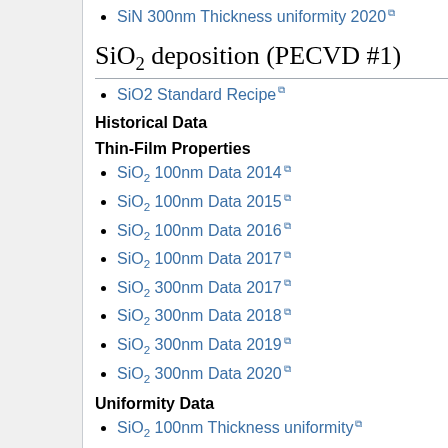SiN 300nm Thickness uniformity 2020
SiO₂ deposition (PECVD #1)
SiO2 Standard Recipe
Historical Data
Thin-Film Properties
SiO₂ 100nm Data 2014
SiO₂ 100nm Data 2015
SiO₂ 100nm Data 2016
SiO₂ 100nm Data 2017
SiO₂ 300nm Data 2017
SiO₂ 300nm Data 2018
SiO₂ 300nm Data 2019
SiO₂ 300nm Data 2020
Uniformity Data
SiO₂ 100nm Thickness uniformity